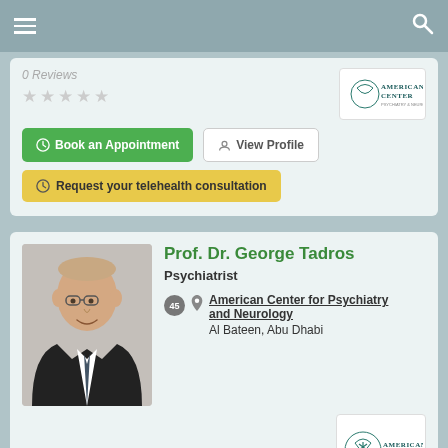Navigation bar with menu and search icons
0 Reviews
★★★★★
[Figure (logo): American Center for Psychiatry and Neurology logo]
Book an Appointment
View Profile
Request your telehealth consultation
Prof. Dr. George Tadros
Psychiatrist
American Center for Psychiatry and Neurology
Al Bateen, Abu Dhabi
[Figure (photo): Photo of Prof. Dr. George Tadros, an elderly man in a suit]
[Figure (logo): American Center for Psychiatry and Neurology logo]
0 Reviews
★★★★★
Book an Appointment
View Profile